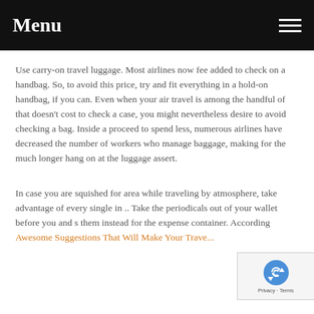Menu
Use carry-on travel luggage. Most airlines now fee added to check on a handbag. So, to avoid this price, try and fit everything in a hold-on handbag, if you can. Even when your air travel is among the handful of that doesn't cost to check a case, you might nevertheless desire to avoid checking a bag. Inside a proceed to spend less, numerous airlines have decreased the number of workers who manage baggage, making for the much longer hang on at the luggage assert.
In case you are squished for area while traveling by atmosphere, take advantage of every single in .. Take the periodicals out of your wallet before you and s them instead for the expense container. According Awesome Suggestions That Will Make Your Trave...